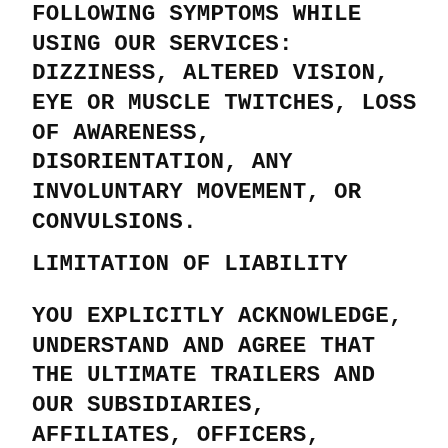FOLLOWING SYMPTOMS WHILE USING OUR SERVICES: DIZZINESS, ALTERED VISION, EYE OR MUSCLE TWITCHES, LOSS OF AWARENESS, DISORIENTATION, ANY INVOLUNTARY MOVEMENT, OR CONVULSIONS.
LIMITATION OF LIABILITY
YOU EXPLICITLY ACKNOWLEDGE, UNDERSTAND AND AGREE THAT THE ULTIMATE TRAILERS AND OUR SUBSIDIARIES, AFFILIATES, OFFICERS, EMPLOYEES, AGENTS, PARTNERS AND LICENSORS SHALL NOT BE LIABLE TO YOU FOR ANY PUNITIVE, INDIRECT, INCIDENTAL, SPECIAL, CONSEQUENTIAL, OR EXEMPLARY DAMAGES